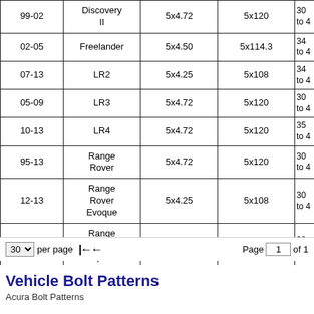| Year | Model | BoltPatternIn | BoltPatternMM | OFFSET |
| --- | --- | --- | --- | --- |
| 99-02 | Discovery II | 5x4.72 | 5x120 | 30 to 4 |
| 02-05 | Freelander | 5x4.50 | 5x114.3 | 34 to 4 |
| 07-13 | LR2 | 5x4.25 | 5x108 | 34 to 4 |
| 05-09 | LR3 | 5x4.72 | 5x120 | 30 to 4 |
| 10-13 | LR4 | 5x4.72 | 5x120 | 35 to 4 |
| 95-13 | Range Rover | 5x4.72 | 5x120 | 30 to 4 |
| 12-13 | Range Rover Evoque | 5x4.25 | 5x108 | 30 to 4 |
| 06-13 | Range Rover Sport | 5x4.72 | 5x120 | 30 to 4 |
30 per page | Page 1 of 1
Vehicle Bolt Patterns
Acura Bolt Patterns